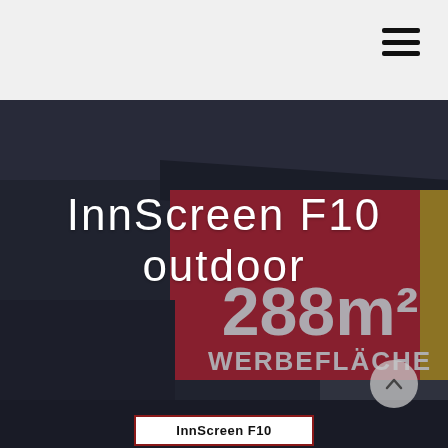[Figure (photo): Outdoor advertising LED screen billboard showing '288m² WERBEFLÄCHE' text on a large red sign mounted on a building, photographed at dusk/night. The InnScreen F10 outdoor product is displayed.]
InnScreen F10 outdoor
InnScreen F10